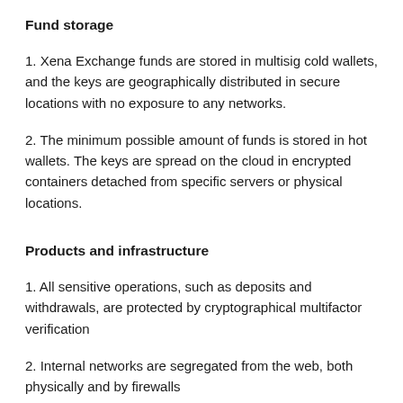Fund storage
1. Xena Exchange funds are stored in multisig cold wallets, and the keys are geographically distributed in secure locations with no exposure to any networks.
2. The minimum possible amount of funds is stored in hot wallets. The keys are spread on the cloud in encrypted containers detached from specific servers or physical locations.
Products and infrastructure
1. All sensitive operations, such as deposits and withdrawals, are protected by cryptographical multifactor verification
2. Internal networks are segregated from the web, both physically and by firewalls
3. All external communications are routed via demilitarized